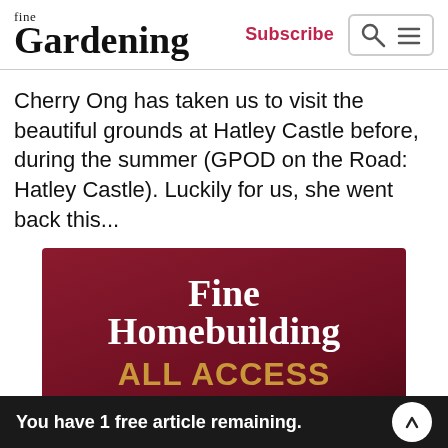fine Gardening | Subscribe
Cherry Ong has taken us to visit the beautiful grounds at Hatley Castle before, during the summer (GPOD on the Road: Hatley Castle). Luckily for us, she went back this...
[Figure (advertisement): Fine Homebuilding ALL ACCESS advertisement on dark red background. Text reads: Fine Homebuilding ALL ACCESS. Trusted building advice. Anywhere. Anytime.]
You have 1 free article remaining.